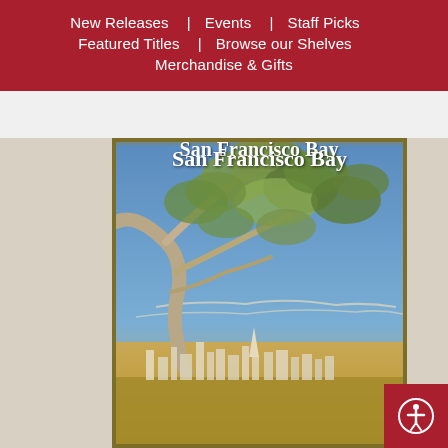New Releases | Events | Staff Picks | Featured Titles | Browse our Shelves | Merchandise & Gifts
[Figure (illustration): Book cover for a book about San Francisco Bay, featuring an illustrated scene with a large oak tree in the upper portion against a blue sky, and the San Francisco skyline visible in the lower portion with the bay. The cover has a golden-olive border. The title 'San Francisco Bay' appears in large white serif type at the top of the cover image.]
San Francisco Bay